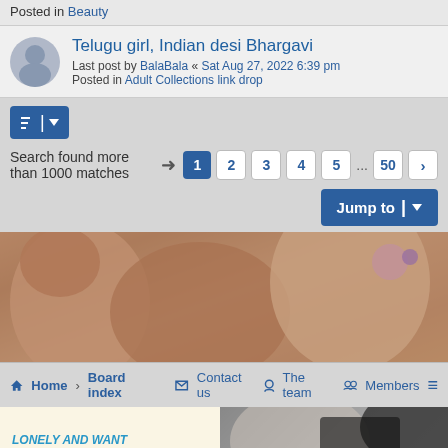Posted in Beauty
Telugu girl, Indian desi Bhargavi
Last post by BalaBala « Sat Aug 27, 2022 6:39 pm
Posted in Adult Collections link drop
Search found more than 1000 matches  1 2 3 4 5 … 50 >
Jump to
[Figure (photo): Close-up adult content banner image]
Home › Board index   Contact us   The team   Members
[Figure (photo): Adult advertisement banner with text LONELY AND WANT SOMEONE TO TALK TO? and username x_Lily_x]